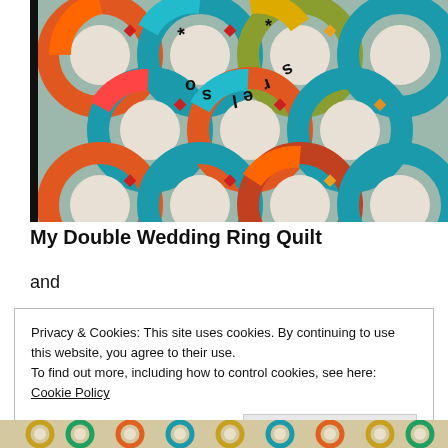[Figure (photo): A colorful Double Wedding Ring quilt pattern with teal, orange, red, yellow, and multicolored fabric rings arranged in a grid, photographed from above.]
My Double Wedding Ring Quilt
and
Privacy & Cookies: This site uses cookies. By continuing to use this website, you agree to their use.
To find out more, including how to control cookies, see here: Cookie Policy

Close and accept
[Figure (photo): Partial view of another quilt with colorful circular dot patterns in gold, green, teal and orange tones.]